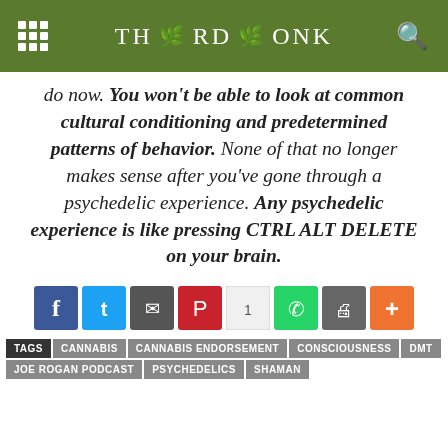THIRD MONK
do now. You won't be able to look at common cultural conditioning and predetermined patterns of behavior. None of that no longer makes sense after you've gone through a psychedelic experience. Any psychedelic experience is like pressing CTRL ALT DELETE on your brain.
[Figure (other): Social sharing buttons: Facebook, Twitter, Email, Pinterest (count:1), WhatsApp, Print, More]
TAGS: CANNABIS | CANNABIS ENDORSEMENT | CONSCIOUSNESS | DMT | JOE ROGAN PODCAST | PSYCHEDELICS | SHAMAN